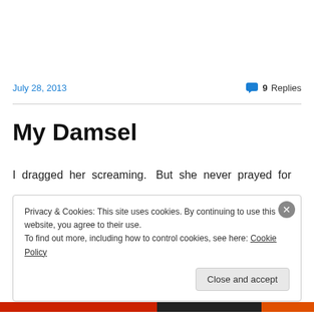July 28, 2013
9 Replies
My Damsel
I dragged her screaming.  But she never prayed for
Privacy & Cookies: This site uses cookies. By continuing to use this website, you agree to their use.
To find out more, including how to control cookies, see here: Cookie Policy
Close and accept